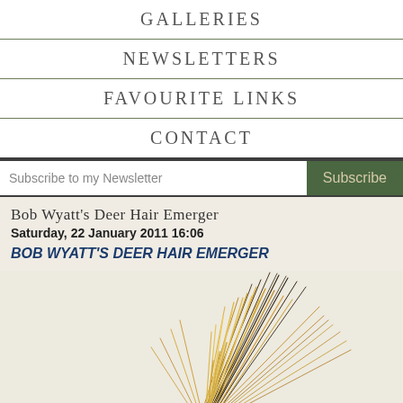GALLERIES
NEWSLETTERS
FAVOURITE LINKS
CONTACT
Subscribe to my Newsletter  Subscribe
Bob Wyatt's Deer Hair Emerger
Saturday, 22 January 2011 16:06
BOB WYATT'S DEER HAIR EMERGER
[Figure (photo): Close-up photograph of deer hair used in fly tying, showing long golden-tan and dark-tipped hair fibers fanned out against a light background.]